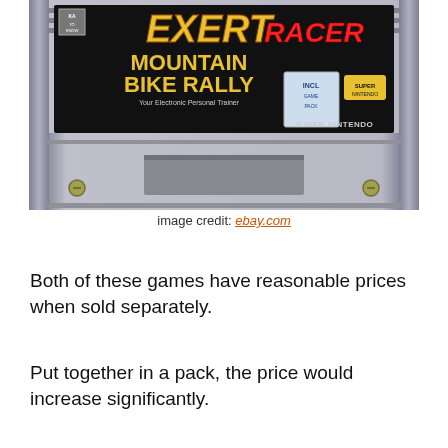[Figure (photo): A Super Nintendo (SNES) cartridge for 'Exertainment Mountain Bike Rally / Speed Racer' game, photographed against a white background. The gray plastic cartridge shows the game label with yellow and red text on a dark background, with the Super Nintendo logo visible. The cartridge has ridged sides and two gold screws at the bottom.]
image credit: ebay.com
Both of these games have reasonable prices when sold separately.
Put together in a pack, the price would increase significantly.